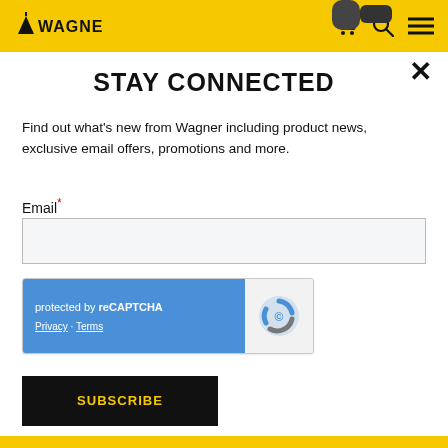[Figure (screenshot): Wagner brand header bar with yellow background, Wagner logo on left, cart icon, search icon, and hamburger menu icon on right]
STAY CONNECTED
Find out what's new from Wagner including product news, exclusive email offers, promotions and more.
Email*
[Figure (screenshot): reCAPTCHA widget showing 'protected by reCAPTCHA' text with Privacy and Terms links on blue background, and reCAPTCHA logo on right side]
SUBSCRIBE